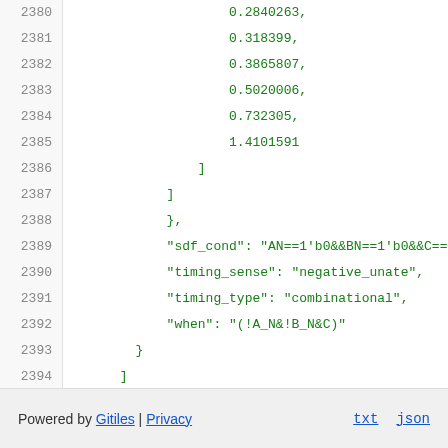2380    0.2840263,
2381    0.318399,
2382    0.3865807,
2383    0.5020006,
2384    0.732305,
2385    1.4101591
2386        ]
2387      ]
2388        },
2389        "sdf_cond": "AN==1'b0&&BN==1'b0&&C==1'b
2390        "timing_sense": "negative_unate",
2391        "timing_type": "combinational",
2392        "when": "(!A_N&!B_N&C)"
2393          }
2394        ]
2395      }
2396    }
Powered by Gitiles | Privacy    txt  json